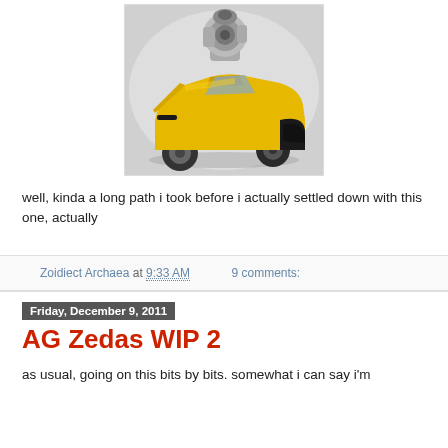[Figure (photo): Photo of a yellow Chevrolet Camaro toy/model car (Bumblebee Transformer) with a large grey cannon/weapon mounted on top, set against a grey/white background]
well, kinda a long path i took before i actually settled down with this one, actually
Zoidiect Archaea at 9:33 AM   9 comments:
Friday, December 9, 2011
AG Zedas WIP 2
as usual, going on this bits by bits. somewhat i can say i'm